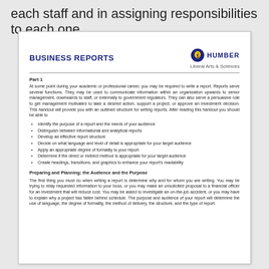each staff and in assigning responsibilities to each one.
BUSINESS REPORTS
[Figure (logo): Humber Liberal Arts & Sciences logo with circular blue and gold emblem]
Part 1
At some point during your academic or professional career, you may be required to write a report. Reports serve several functions. They may be used to communicate information within an organization upwards to senior management, downwards to staff, or externally to government regulators. They can also serve a persuasive role to get management motivated to take a desired action, support a project, or approve an investment decision. This handout will provide you with an outlined structure for writing reports. After reading this handout you should be able to
Identify the purpose of a report and the needs of your audience
Distinguish between informational and analytical reports
Develop an effective report structure
Decide on what language and level of detail is appropriate for your target audience
Apply an appropriate degree of formality to your report
Determine if the direct or indirect method is appropriate for your target audience
Create headings, transitions, and graphics to enhance your report's readability
Preparing and Planning: the Audience and the Purpose
The first thing you must do when writing a report is determine why and for whom you are writing. You may be trying to relay requested information to your boss, or you may make an unsolicited proposal to a financial officer for an investment that will reduce cost. You may be asked to investigate an on-the-job accident, or you may have to explain why a project has fallen behind schedule. The purpose and audience of your report will determine the use of language, the degree of formality, the method of delivery, the structure, and the type of report.